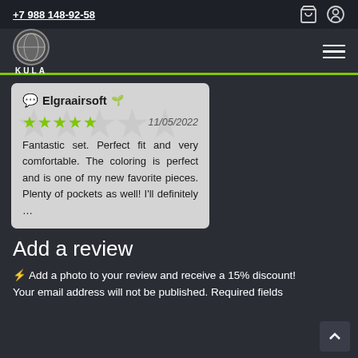+7 988 148-92-58
[Figure (logo): KULA logo with globe icon]
Elgraairsoft ✔ — 5 stars — 11/05/2022 — Fantastic set. Perfect fit and very comfortable. The coloring is perfect and is one of my new favorite pieces. Plenty of pockets as well! I'll definitely …
Add a review
⚡ Add a photo to your review and receive a 15% discount!
Your email address will not be published. Required fields